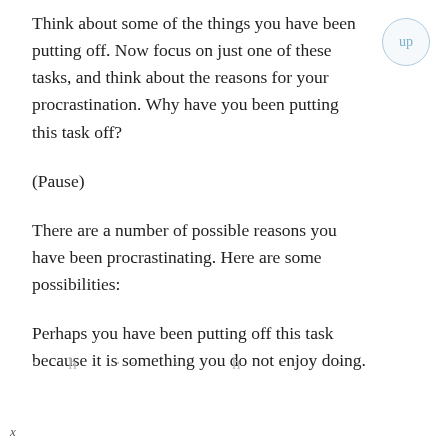Think about some of the things you have been putting off. Now focus on just one of these tasks, and think about the reasons for your procrastination. Why have you been putting this task off?
(Pause)
There are a number of possible reasons you have been procrastinating. Here are some possibilities:
Perhaps you have been putting off this task because it is something you do not enjoy doing.
· · h · · · · · · h · · · · · · h · ·